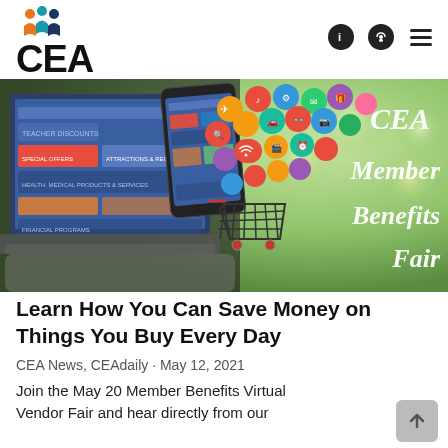CEA
[Figure (photo): Hero image showing a laptop and smartphone with colorful app icons floating above a shopping cart, with text 'CEA Member Benefits Fair' on the right side]
Learn How You Can Save Money on Things You Buy Every Day
CEA News, CEAdaily · May 12, 2021
Join the May 20 Member Benefits Virtual Vendor Fair and hear directly from our